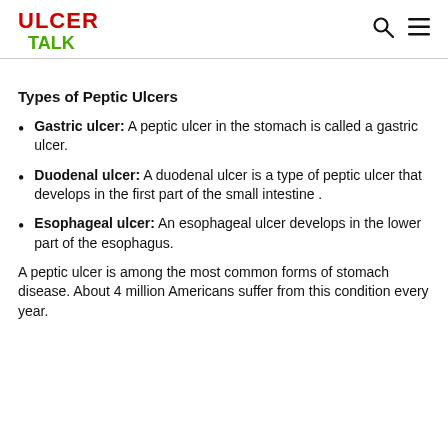ULCER TALK
Types of Peptic Ulcers
Gastric ulcer: A peptic ulcer in the stomach is called a gastric ulcer.
Duodenal ulcer: A duodenal ulcer is a type of peptic ulcer that develops in the first part of the small intestine .
Esophageal ulcer: An esophageal ulcer develops in the lower part of the esophagus.
A peptic ulcer is among the most common forms of stomach disease. About 4 million Americans suffer from this condition every year.